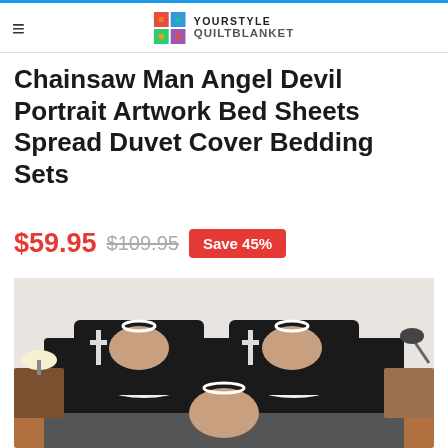YOURSTYLE QUILTBLANKET
Chainsaw Man Angel Devil Portrait Artwork Bed Sheets Spread Duvet Cover Bedding Sets
$59.95  $109.95  Save 45%
[Figure (photo): Product photo showing anime-themed bedding set (Chainsaw Man Angel Devil) on a bed with two matching pillowcases, featuring black and white artwork of a character with a halo. Nightstands with lamps visible on either side.]